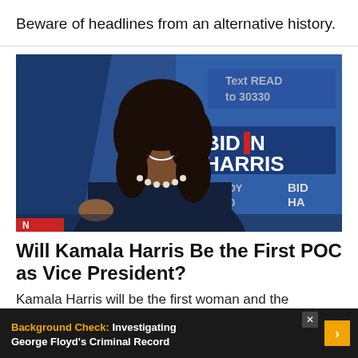Beware of headlines from an alternative history.
[Figure (photo): Photo of Kamala Harris smiling, wearing a dark navy blazer and pearl necklace, with Biden Harris campaign signs visible in the background including text 'BIDEN HARRIS', 'Text READ to 30330', 'READY 30330']
Will Kamala Harris Be the First POC as Vice President?
Kamala Harris will be the first woman and the first...
Background Check: Investigating George Floyd's Criminal Record